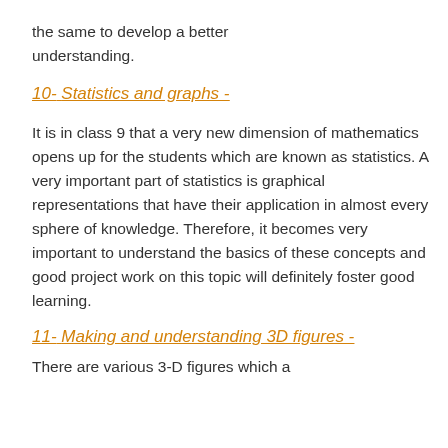the same to develop a better understanding.
10- Statistics and graphs -
It is in class 9 that a very new dimension of mathematics opens up for the students which are known as statistics. A very important part of statistics is graphical representations that have their application in almost every sphere of knowledge. Therefore, it becomes very important to understand the basics of these concepts and good project work on this topic will definitely foster good learning.
11- Making and understanding 3D figures -
There are various 3-D figures which a